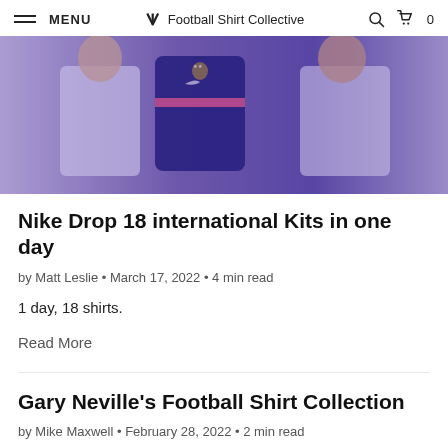MENU  Football Shirt Collective  🔍  🛒 0
[Figure (photo): Group of people wearing football shirts including a France Nike kit in dark blue with pink stripe]
Nike Drop 18 international Kits in one day
by Matt Leslie • March 17, 2022 • 4 min read
1 day, 18 shirts.
Read More
Gary Neville's Football Shirt Collection
by Mike Maxwell • February 28, 2022 • 2 min read